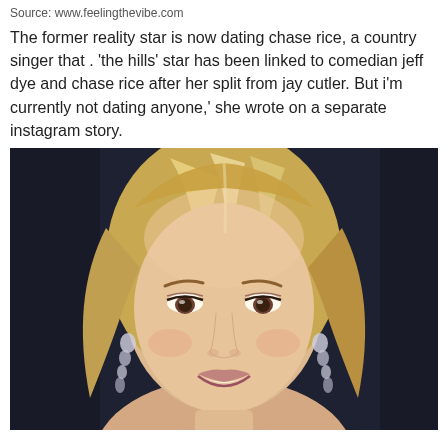Source: www.feelingthevibe.com
The former reality star is now dating chase rice, a country singer that . 'the hills' star has been linked to comedian jeff dye and chase rice after her split from jay cutler. But i'm currently not dating anyone,' she wrote on a separate instagram story.
[Figure (photo): Close-up photo of a blonde woman smiling, wearing chandelier earrings, at what appears to be a formal event with a dark background]